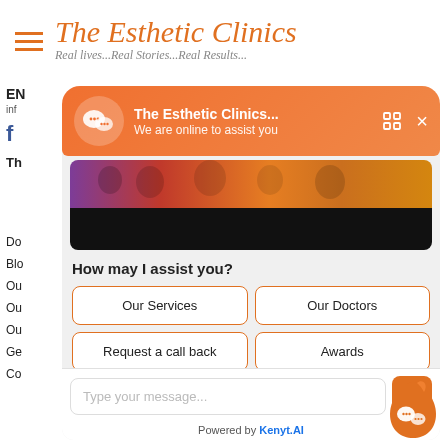The Esthetic Clinics
Real lives...Real Stories...Real Results...
[Figure (screenshot): WeChat chat widget showing 'The Esthetic Clinics... We are online to assist you' notification bar with orange background, and a chat panel below with 'How may I assist you?' prompt and buttons: Our Services, Our Doctors, Request a call back, Awards, Change-Language, plus a message input field and send button. Powered by Kenyt.AI at bottom.]
How may I assist you?
Our Services
Our Doctors
Request a call back
Awards
Change-Language
Type your message...
Powered by Kenyt.AI